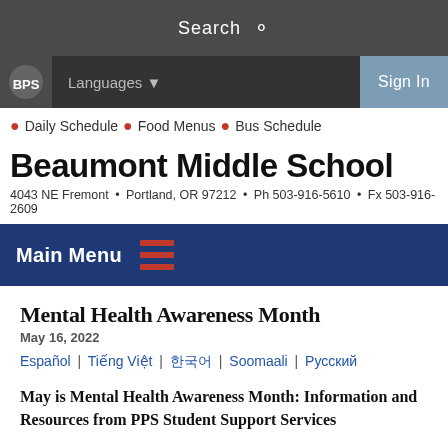Search
Languages ▼  Sign In
Daily Schedule • Food Menus • Bus Schedule
Beaumont Middle School
4043 NE Fremont • Portland, OR 97212 • Ph 503-916-5610 • Fx 503-916-2609
Main Menu
Mental Health Awareness Month
May 16, 2022
Español | Tiếng Việt | 한국어 | Soomaali | Русский
May is Mental Health Awareness Month: Information and Resources from PPS Student Support Services